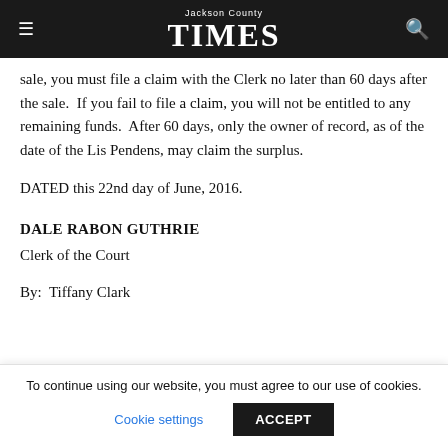Jackson County Times
sale, you must file a claim with the Clerk no later than 60 days after the sale.  If you fail to file a claim, you will not be entitled to any remaining funds.  After 60 days, only the owner of record, as of the date of the Lis Pendens, may claim the surplus.
DATED this 22nd day of June, 2016.
DALE RABON GUTHRIE
Clerk of the Court
By:  Tiffany Clark
To continue using our website, you must agree to our use of cookies.
Cookie settings   ACCEPT